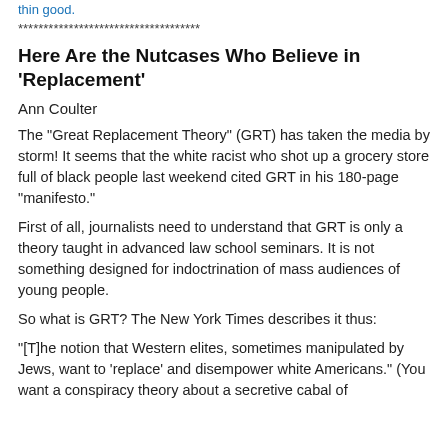thin good.
************************************
Here Are the Nutcases Who Believe in 'Replacement'
Ann Coulter
The "Great Replacement Theory" (GRT) has taken the media by storm! It seems that the white racist who shot up a grocery store full of black people last weekend cited GRT in his 180-page "manifesto."
First of all, journalists need to understand that GRT is only a theory taught in advanced law school seminars. It is not something designed for indoctrination of mass audiences of young people.
So what is GRT? The New York Times describes it thus:
"[T]he notion that Western elites, sometimes manipulated by Jews, want to 'replace' and disempower white Americans." (You want a conspiracy theory about a secretive cabal of